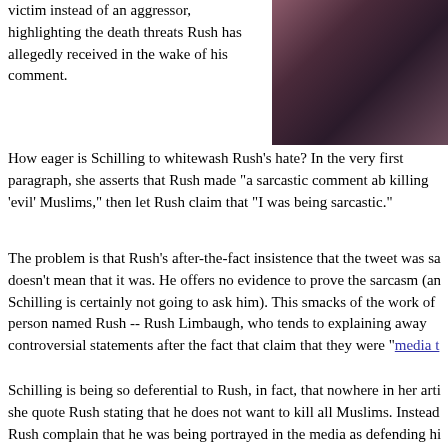victim instead of an aggressor, highlighting the death threats Rush has allegedly received in the wake of his comment.
[Figure (photo): A dark, close-up photograph with reddish-brown and dark purple tones, appearing to show fabric or clothing.]
How eager is Schilling to whitewash Rush's hate? In the very first paragraph, she asserts that Rush made "a sarcastic comment ab[out] killing 'evil' Muslims," then let Rush claim that "I was being sarcastic."
The problem is that Rush's after-the-fact insistence that the tweet was sa[rcastic] doesn't mean that it was. He offers no evidence to prove the sarcasm (an[d] Schilling is certainly not going to ask him). This smacks of the work of [a] person named Rush -- Rush Limbaugh, who tends to explaining away controversial statements after the fact that claim that they were "media t[raps]"
Schilling is being so deferential to Rush, in fact, that nowhere in her arti[cle does] she quote Rush stating that he does not want to kill all Muslims. Inste[ad, let] Rush complain that he was being portrayed in the media as defending hi[s tweet,] then adding, “They asked me, ‘If you had it to do over again, would you[?’ He] was like, ‘Yeah, probably.’”
And Schilling is carefully not to mention Rush's reference to "muzzie[s]" -- a Muslim slur -- lest people learn the truth about Rush's hate.
It's ludicrous for Rush to insist he's not defending his tweet when he say[s]